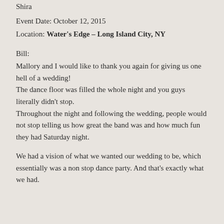Shira
Event Date: October 12, 2015
Location: Water's Edge – Long Island City, NY
Bill:
Mallory and I would like to thank you again for giving us one hell of a wedding! The dance floor was filled the whole night and you guys literally didn't stop. Throughout the night and following the wedding, people would not stop telling us how great the band was and how much fun they had Saturday night.
We had a vision of what we wanted our wedding to be, which essentially was a non stop dance party. And that's exactly what we had.